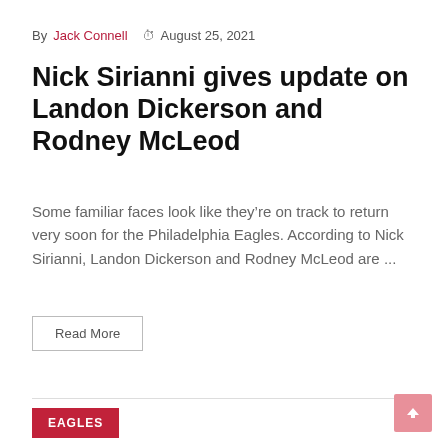By Jack Connell  ⌛ August 25, 2021
Nick Sirianni gives update on Landon Dickerson and Rodney McLeod
Some familiar faces look like they’re on track to return very soon for the Philadelphia Eagles. According to Nick Sirianni, Landon Dickerson and Rodney McLeod are ...
Read More
EAGLES